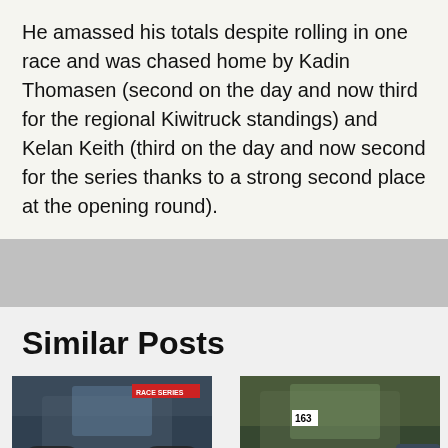He amassed his totals despite rolling in one race and was chased home by Kadin Thomasen (second on the day and now third for the regional Kiwitruck standings) and Kelan Keith (third on the day and now second for the series thanks to a strong second place at the opening round).
Similar Posts
[Figure (photo): Off-road buggy/vehicle with roll cage, blue/dark tones, racing vehicle]
[Figure (photo): Off-road buggy with roll cage and number 163, signmasters branding, green/dark tones]